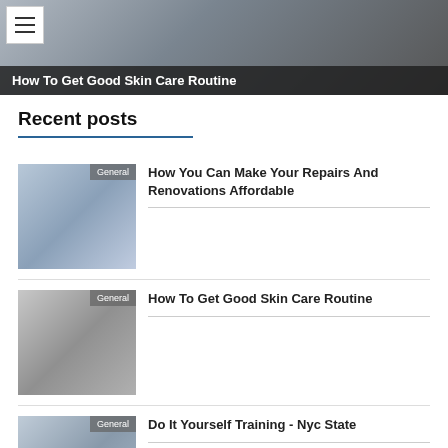[Figure (photo): Hero banner image showing people, with hamburger menu icon overlay and dark title bar at bottom]
How To Get Good Skin Care Routine
Recent posts
[Figure (photo): Thumbnail of smiling middle-aged man in blue shirt with 'General' badge]
How You Can Make Your Repairs And Renovations Affordable
[Figure (photo): Thumbnail of person holding handbag with 'General' badge]
How To Get Good Skin Care Routine
[Figure (photo): Thumbnail of document/card with 'General' badge]
Do It Yourself Training - Nyc State